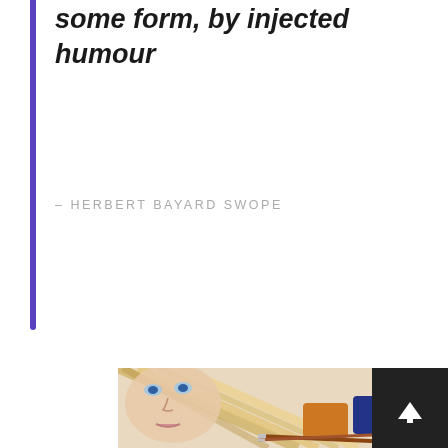some form, by injected humour
– HERBERT BAYARD SWOPE
[Figure (illustration): A watercolor portrait painting of a blonde woman with blue eyes, with paint brushes and watercolor paint pans (orange and blue) visible beside the paper. The artwork shows the woman's face with long flowing blonde hair.]